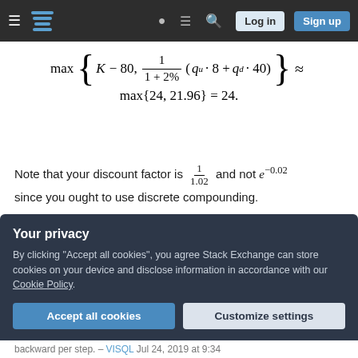Stack Exchange navigation bar with logo, help, search, login, and sign up buttons
Note that your discount factor is 1/1.02 and not e^{-0.02} since you ought to use discrete compounding.
Share   edited Jul 23, 2019 at 15:04
Improve this answer
Follow
Your privacy
By clicking "Accept all cookies", you agree Stack Exchange can store cookies on your device and disclose information in accordance with our Cookie Policy.
Accept all cookies   Customize settings
backward per step. – VISQL Jul 24, 2019 at 9:34